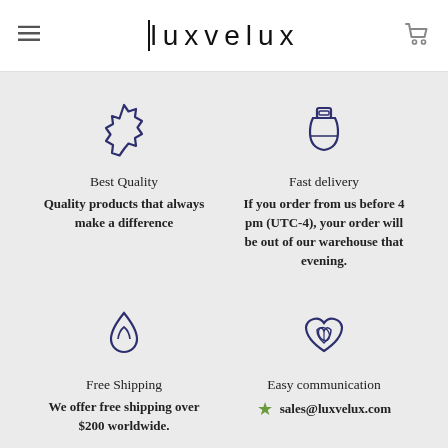luxvelux
[Figure (illustration): Flower/badge quality icon in dark navy outline]
Best Quality
Quality products that always make a difference
[Figure (illustration): Bottle/flask fast delivery icon in dark navy outline]
Fast delivery
If you order from us before 4 pm (UTC-4), your order will be out of our warehouse that evening.
[Figure (illustration): Water drop free shipping icon in dark navy outline]
Free Shipping
We offer free shipping over $200 worldwide.
[Figure (illustration): Heart with leaf easy communication icon in dark navy outline]
Easy communication
sales@luxvelux.com